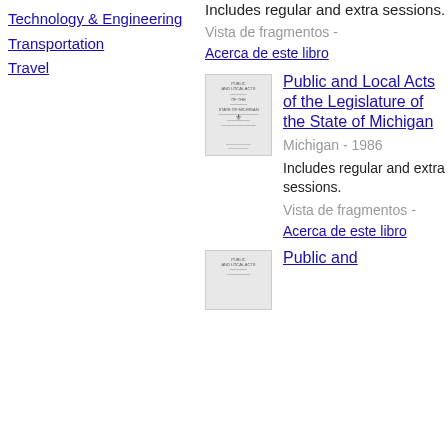Technology & Engineering
Transportation
Travel
Includes regular and extra sessions.
Vista de fragmentos - Acerca de este libro
[Figure (illustration): Thumbnail of book cover: Public and Local Acts of the Legislature of the State of Michigan]
Public and Local Acts of the Legislature of the State of Michigan
Michigan - 1986
Includes regular and extra sessions.
Vista de fragmentos - Acerca de este libro
[Figure (illustration): Thumbnail of book cover: Public and Local Acts (second entry)]
Public and